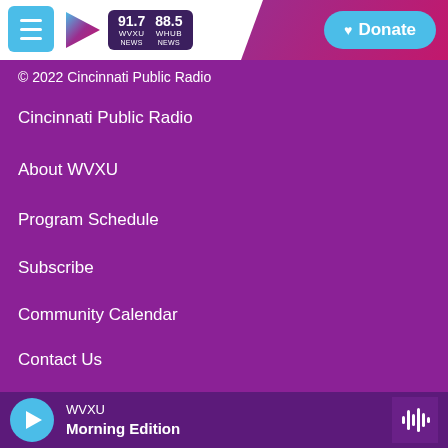WVXU 91.7 NEWS | 88.5 WHUB NEWS | Donate
© 2022 Cincinnati Public Radio
Cincinnati Public Radio
About WVXU
Program Schedule
Subscribe
Community Calendar
Contact Us
WVXU Democracy and Me for Educators
Privacy Policy and Terms of Use
WVXU Morning Edition